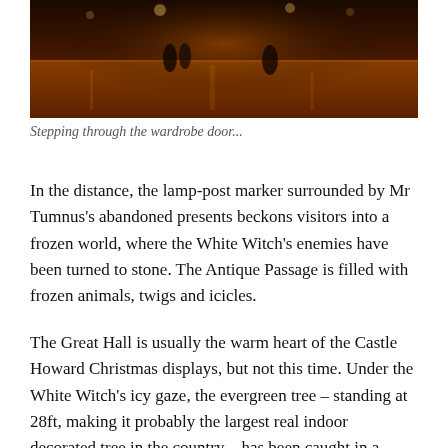[Figure (photo): Interior of Castle Howard with warm orange-brown tones, reflective floor, and dim atmospheric lighting]
Stepping through the wardrobe door...
In the distance, the lamp-post marker surrounded by Mr Tumnus's abandoned presents beckons visitors into a frozen world, where the White Witch's enemies have been turned to stone. The Antique Passage is filled with frozen animals, twigs and icicles.
The Great Hall is usually the warm heart of the Castle Howard Christmas displays, but not this time. Under the White Witch's icy gaze, the evergreen tree – standing at 28ft, making it probably the largest real indoor decorated tree in the country – has been caught in a snowstorm.
Every branch is covered with snow and thousands of icicles, together with a constellation of tiny, glistening